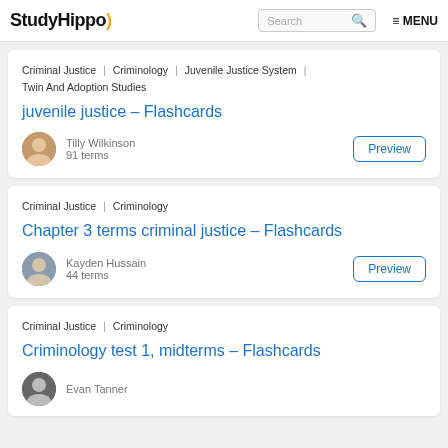StudyHippo | Search | MENU
Criminal Justice | Criminology | Juvenile Justice System | Twin And Adoption Studies
juvenile justice – Flashcards
Tilly Wilkinson
91 terms
Preview
Criminal Justice | Criminology
Chapter 3 terms criminal justice – Flashcards
Kayden Hussain
44 terms
Preview
Criminal Justice | Criminology
Criminology test 1, midterms – Flashcards
Evan Tanner